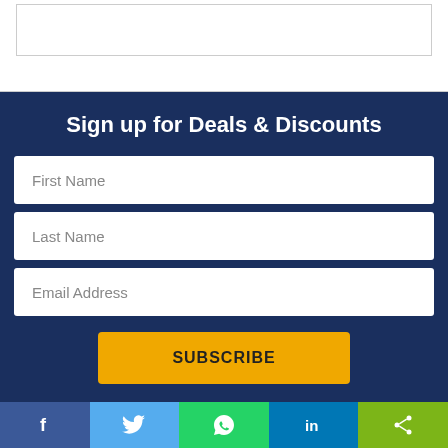[Figure (screenshot): Top white section with a bordered box, possibly an ad or image placeholder]
Sign up for Deals & Discounts
First Name
Last Name
Email Address
SUBSCRIBE
[Figure (infographic): Social media share bar with Facebook, Twitter, WhatsApp, LinkedIn, and Share buttons]